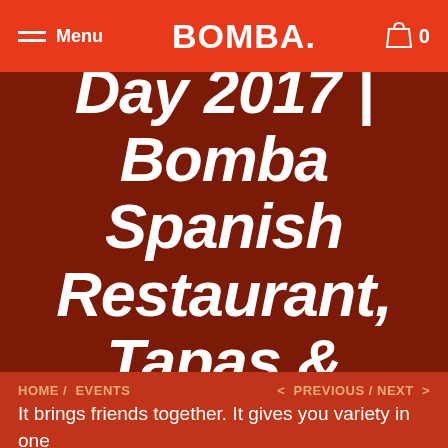Menu  BOMBA.  0
World Tapas Day 2017 | Bomba Spanish Restaurant, Tapas & Rooftop Bar
HOME / EVENTS
< PREVIOUS / NEXT >
It brings friends together. It gives you variety in one